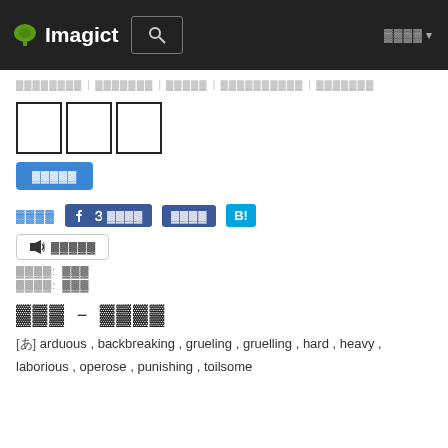Imagict [search icon] [nav items]
[breadcrumb navigation with Japanese text]
[Three Japanese characters in boxes]
[Blue button with Japanese text]
[Japanese link] [Facebook like button] [Facebook share button] [Hatena bookmark B! button]
[Speaker icon] [Japanese text button]
[Japanese label]: [Japanese text]
[Japanese label]: [Japanese text]
[Japanese characters] - [Japanese characters]
[あ] arduous , backbreaking , grueling , gruelling , hard , heavy , laborious , operose , punishing , toilsome